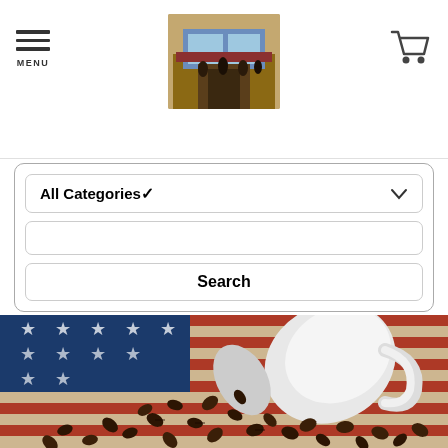[Figure (screenshot): Website header with hamburger menu icon labeled MENU on the left, a café/restaurant scene logo image in the center, and a shopping cart icon on the right]
[Figure (screenshot): Search panel with All Categories dropdown, blank search text input, and Search button]
[Figure (photo): Patriotic American flag background (distressed wood painted with stars and red/white/blue stripes) with a tipped white coffee mug spilling dark roasted coffee beans across the surface]